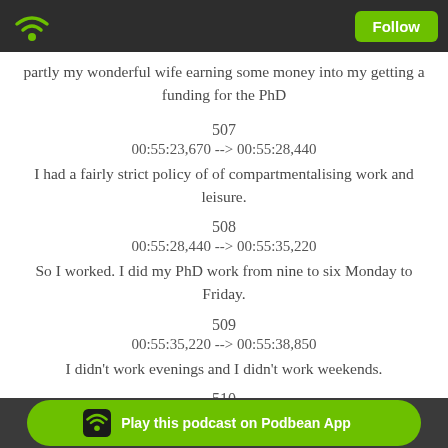Follow
partly my wonderful wife earning some money into my getting a funding for the PhD
507
00:55:23,670 --> 00:55:28,440
I had a fairly strict policy of of compartmentalising work and leisure.
508
00:55:28,440 --> 00:55:35,220
So I worked. I did my PhD work from nine to six Monday to Friday.
509
00:55:35,220 --> 00:55:38,850
I didn't work evenings and I didn't work weekends.
510
I broke...
Play this podcast on Podbean App